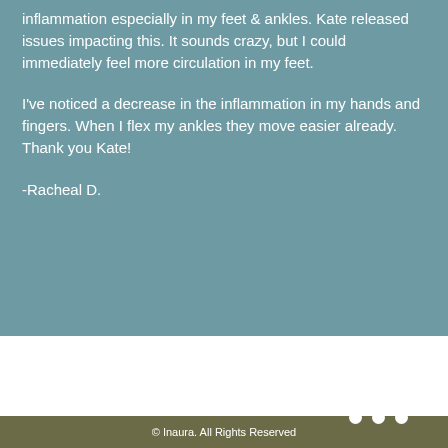inflammation especially in my feet & ankles. Kate released issues impacting this. It sounds crazy, but I could immediately feel more circulation in my feet.
I've noticed a decrease in the inflammation in my hands and fingers. When I flex my ankles they move easier already. Thank you Kate!
-Racheal D.
[Figure (other): Three white circular dots (pagination/slider indicators) in the lower right of the teal section]
© Inaura. All Rights Reserved